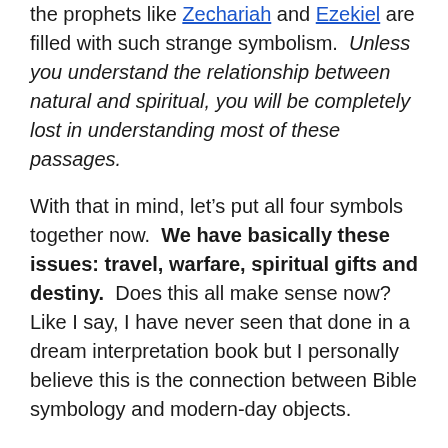the prophets like Zechariah and Ezekiel are filled with such strange symbolism.  Unless you understand the relationship between natural and spiritual, you will be completely lost in understanding most of these passages.
With that in mind, let’s put all four symbols together now.  We have basically these issues: travel, warfare, spiritual gifts and destiny.  Does this all make sense now?  Like I say, I have never seen that done in a dream interpretation book but I personally believe this is the connection between Bible symbology and modern-day objects.